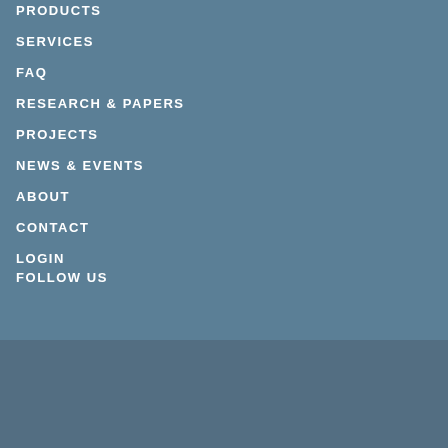PRODUCTS
SERVICES
FAQ
RESEARCH & PAPERS
PROJECTS
NEWS & EVENTS
ABOUT
CONTACT
LOGIN
FOLLOW US
GET 360 NEWS BY EMAIL
Enter your E-mail
Submit